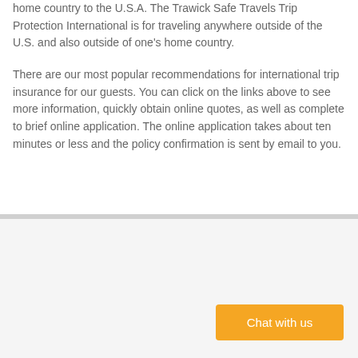home country to the U.S.A. The Trawick Safe Travels Trip Protection International is for traveling anywhere outside of the U.S. and also outside of one’s home country.
There are our most popular recommendations for international trip insurance for our guests. You can click on the links above to see more information, quickly obtain online quotes, as well as complete to brief online application. The online application takes about ten minutes or less and the policy confirmation is sent by email to you.
[Figure (screenshot): Chat with us orange button in the bottom right of a light gray section]